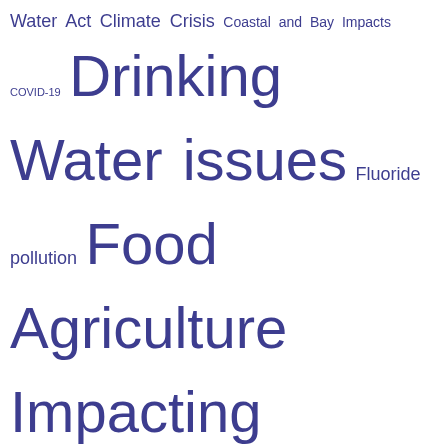[Figure (other): Tag cloud of water-related environmental topics in purple/navy color on white background. Terms vary in font size indicating relative frequency or importance. Topics include: Water Act, Climate Crisis, Coastal and Bay Impacts, COVID-19, Drinking Water issues, Fluoride pollution, Food Agriculture Impacting Water, Forest carbon accounting issues, Fracking impacting water sources, Global Warming/Climate Change, Gravel Mining Impacting watershed, Groundwater Impacts, Homepage Featured Post, Lakes and Resevoirs Impacts, Logging Impacting watershed, Main Article Archive, Oil Mining and Gas Water Pollution, Pesticide pollution, Pharmaceutical Contamination, Preservation Issue, Salmonid/Wildlife Impacts, Stormwater Impacts, Streams and (cut off)]